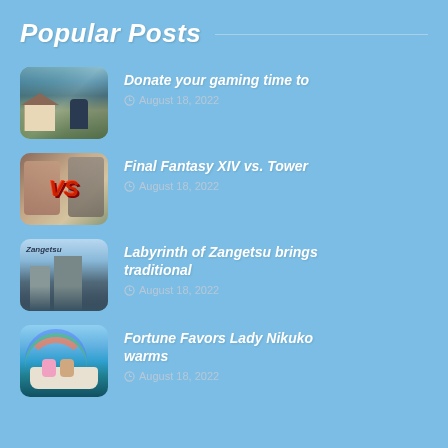Popular Posts
Donate your gaming time to
August 18, 2022
Final Fantasy XIV vs. Tower
August 18, 2022
Labyrinth of Zangetsu brings traditional
August 18, 2022
Fortune Favors Lady Nikuko warms
August 18, 2022